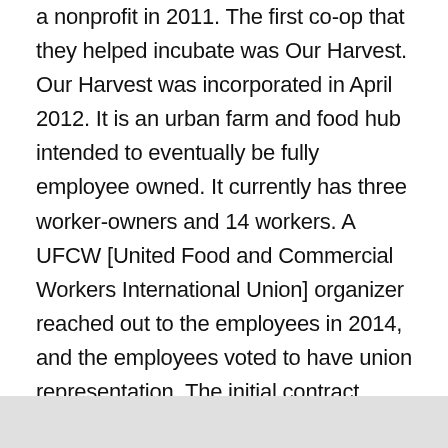a nonprofit in 2011. The first co-op that they helped incubate was Our Harvest. Our Harvest was incorporated in April 2012. It is an urban farm and food hub intended to eventually be fully employee owned. It currently has three worker-owners and 14 workers. A UFCW [United Food and Commercial Workers International Union] organizer reached out to the employees in 2014, and the employees voted to have union representation. The initial contract negotiations were cooperative, efficient, and successful, resulting in a collective bargaining agreement between Our Harvest and UFCW Local 75.
What is the history of the union co-op model?